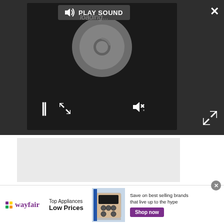[Figure (screenshot): Dark video player UI with 'PLAY SOUND' button (speaker icon), loading spinner circle, pause button (||), and additional media controls on black background.]
[Figure (screenshot): Light gray content area below the video player, representing a loading or blank content region.]
[Figure (screenshot): Wayfair advertisement banner at the bottom: Wayfair logo with colorful star, 'Top Appliances Low Prices' text, image of a kitchen range, 'Save on best selling brands that live up to the hype' text, and a purple 'Shop now' button. A close (x) button appears at the top right of the ad.]